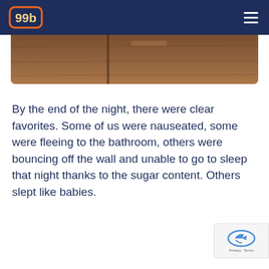99b
[Figure (photo): A partial photo showing wooden surface or barn interior, cropped at top of page]
By the end of the night, there were clear favorites. Some of us were nauseated, some were fleeing to the bathroom, others were bouncing off the wall and unable to go to sleep that night thanks to the sugar content. Others slept like babies.
[Figure (logo): reCAPTCHA badge in bottom right corner with Privacy and Terms text]